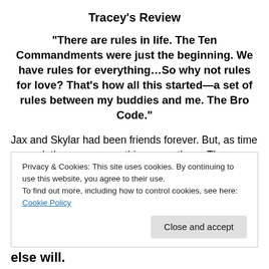Tracey’s Review
“There are rules in life. The Ten Commandments were just the beginning. We have rules for everything…So why not rules for love? That’s how all this started—a set of rules between my buddies and me. The Bro Code.”
Jax and Skylar had been friends forever. But, as time passed, there was something more there. The problem? Jax’s friend Luke liked Skylar, too, and the Bro Code did
Privacy & Cookies: This site uses cookies. By continuing to use this website, you agree to their use.
To find out more, including how to control cookies, see here: Cookie Policy
else will.